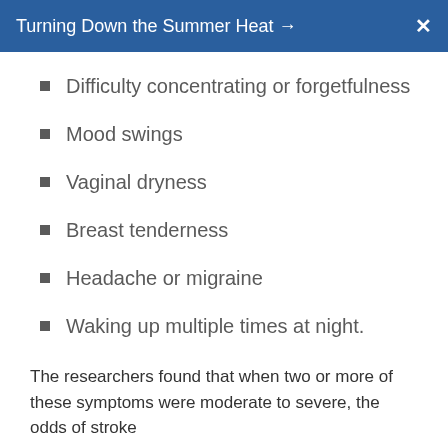Turning Down the Summer Heat →
Difficulty concentrating or forgetfulness
Mood swings
Vaginal dryness
Breast tenderness
Headache or migraine
Waking up multiple times at night.
The researchers found that when two or more of these symptoms were moderate to severe, the odds of stroke